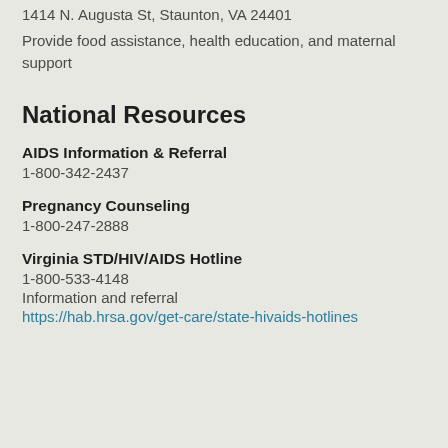1414 N. Augusta St, Staunton, VA 24401
Provide food assistance, health education, and maternal support
National Resources
AIDS Information & Referral
1-800-342-2437
Pregnancy Counseling
1-800-247-2888
Virginia STD/HIV/AIDS Hotline
1-800-533-4148
Information and referral
https://hab.hrsa.gov/get-care/state-hivaids-hotlines